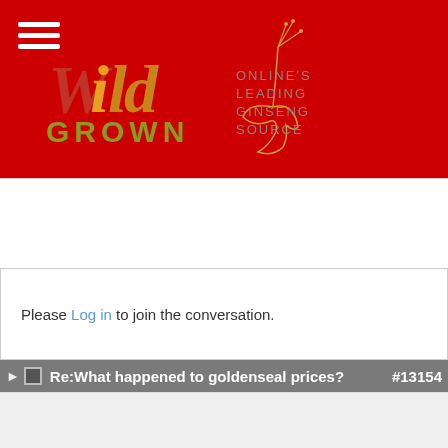[Figure (logo): Wild Grown logo on red background with hamburger menu icon. Cursive 'Wild' text in gold/red gradient, 'GROWN' in olive/gold, decorative ginseng root illustration, and tagline 'ONLINE'S LEADING GINSENG SOURCE' in grey text on right side.]
Please Log in to join the conversation.
Re:What happened to goldenseal prices? #13154
FTB
Offline